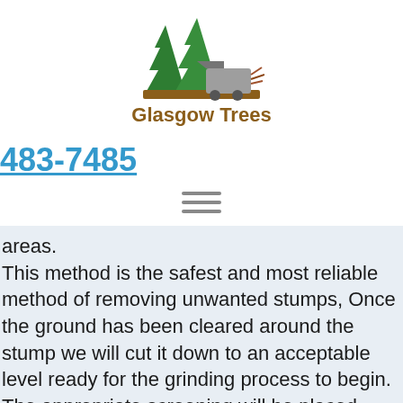[Figure (logo): Glasgow Trees logo with two green pine trees and a wood chipper machine on a brown ground base]
Glasgow Trees
483-7485
[Figure (other): Hamburger menu icon (three horizontal lines)]
areas.
This method is the safest and most reliable method of removing unwanted stumps, Once the ground has been cleared around the stump we will cut it down to an acceptable level ready for the grinding process to begin. The appropriate screening will be placed around the stump to prevent flying debris, this is necessary for health and safety and stops any stones from striking windows that may be close by. Our top of the range